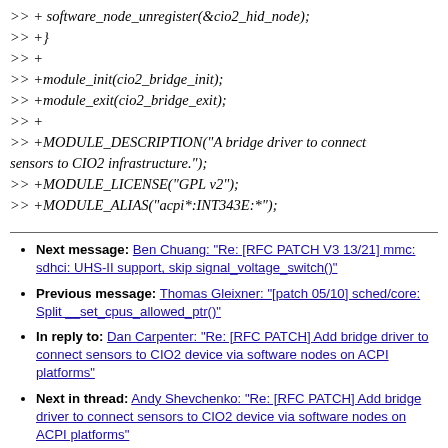>> + software_node_unregister(&cio2_hid_node);
>> +}
>> +
>> +module_init(cio2_bridge_init);
>> +module_exit(cio2_bridge_exit);
>> +
>> +MODULE_DESCRIPTION("A bridge driver to connect sensors to CIO2 infrastructure.");
>> +MODULE_LICENSE("GPL v2");
>> +MODULE_ALIAS("acpi*:INT343E:*");
Next message: Ben Chuang: "Re: [RFC PATCH V3 13/21] mmc: sdhci: UHS-II support, skip signal_voltage_switch()"
Previous message: Thomas Gleixner: "[patch 05/10] sched/core: Split __set_cpus_allowed_ptr()"
In reply to: Dan Carpenter: "Re: [RFC PATCH] Add bridge driver to connect sensors to CIO2 device via software nodes on ACPI platforms"
Next in thread: Andy Shevchenko: "Re: [RFC PATCH] Add bridge driver to connect sensors to CIO2 device via software nodes on ACPI platforms"
Messages sorted by: [ date ] [ thread ] [ subject ] [ author ]